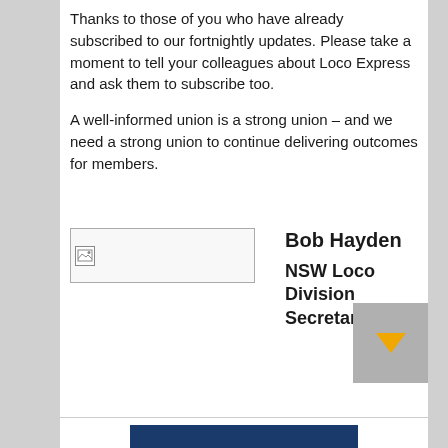Thanks to those of you who have already subscribed to our fortnightly updates. Please take a moment to tell your colleagues about Loco Express and ask them to subscribe too.
A well-informed union is a strong union – and we need a strong union to continue delivering outcomes for members.
[Figure (photo): Broken/placeholder image icon]
Bob Hayden
NSW Loco Division Secretary